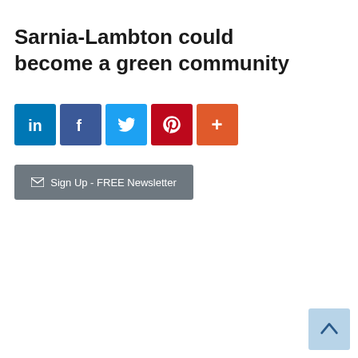Sarnia-Lambton could become a green community
[Figure (infographic): Social media share buttons: LinkedIn (blue), Facebook (dark blue), Twitter (light blue), Pinterest (red), and a More button (orange)]
[Figure (infographic): Email newsletter signup button with envelope icon: Sign Up - FREE Newsletter]
[Figure (infographic): Back to top button (arrow pointing up) in light blue at bottom right corner]